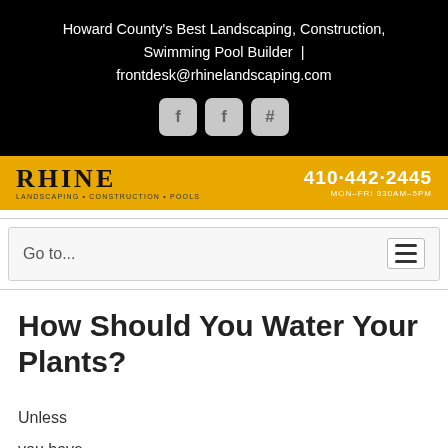Howard County's Best Landscaping, Construction, Swimming Pool Builder | frontdesk@rhinelandscaping.com
[Figure (logo): Rhine Landscaping + Construction + Pools logo banner in yellow/gold with phone number 410-442-2445 and hours MON-FRI 830AM-5PM]
Go to...
How Should You Water Your Plants?
Unless you have a rel